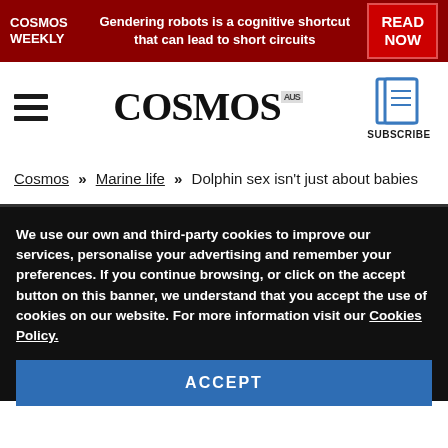COSMOS WEEKLY | Gendering robots is a cognitive shortcut that can lead to short circuits | READ NOW
[Figure (logo): COSMOS magazine wordmark logo with hamburger menu icon and subscribe button with book icon]
Cosmos » Marine life » Dolphin sex isn't just about babies
We use our own and third-party cookies to improve our services, personalise your advertising and remember your preferences. If you continue browsing, or click on the accept button on this banner, we understand that you accept the use of cookies on our website. For more information visit our Cookies Policy.